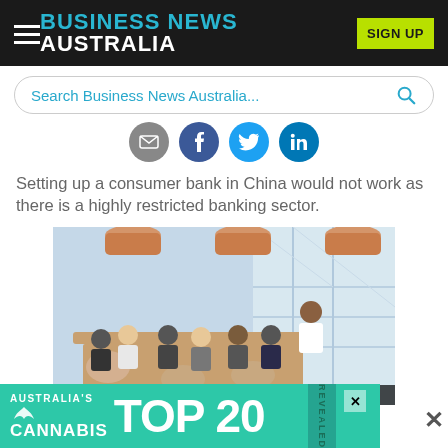Business News Australia | SIGN UP
Search Business News Australia...
[Figure (illustration): Social sharing icons: email (grey), facebook (blue), twitter (light blue), linkedin (blue)]
Setting up a consumer bank in China would not work as there is a highly restricted banking sector.
[Figure (photo): Business meeting in a modern conference room with large windows showing a city skyline. A woman stands presenting to a group of colleagues seated around a wooden table with laptops.]
[Figure (infographic): Advertisement banner: Australia's Cannabis TOP 20 REVEALED]